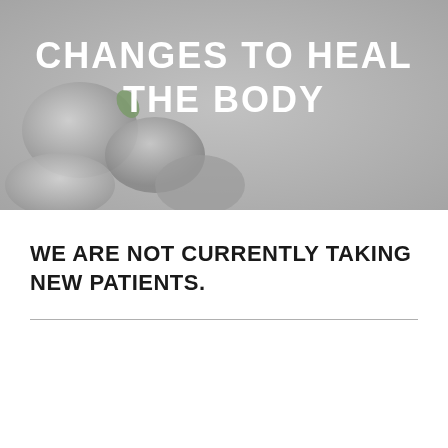[Figure (photo): Gray background photo with smooth river stones/pebbles and a small green leaf, with white bold uppercase text overlay reading 'CHANGES TO HEAL THE BODY']
CHANGES TO HEAL THE BODY
WE ARE NOT CURRENTLY TAKING NEW PATIENTS.